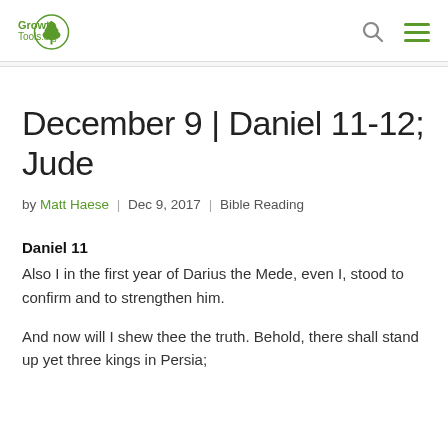GrowthTools.org
December 9 | Daniel 11-12; Jude
by Matt Haese | Dec 9, 2017 | Bible Reading
Daniel 11
Also I in the first year of Darius the Mede, even I, stood to confirm and to strengthen him.
And now will I shew thee the truth. Behold, there shall stand up yet three kings in Persia;